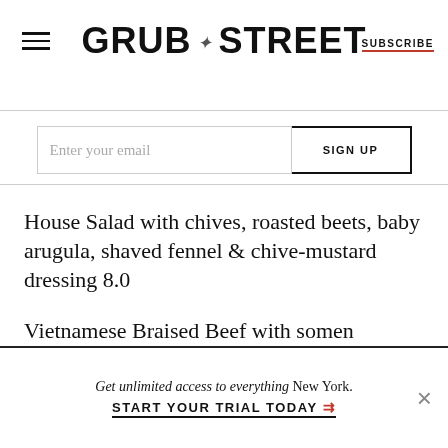GRUB STREET | SUBSCRIBE
Enter your email | SIGN UP
House Salad with chives, roasted beets, baby arugula, shaved fennel & chive-mustard dressing 8.0
Vietnamese Braised Beef with somen noodles, cucumber, cilantro, mint sambal, & 5 spice egg 10.5
Cornflake Crusted Smoked Mushroom and Potato Croquettes with blue cheese-red pepper dip &
Get unlimited access to everything New York. START YOUR TRIAL TODAY